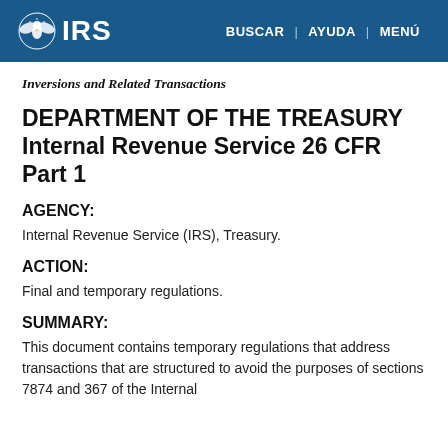IRS | BUSCAR | AYUDA | MENÚ
Inversions and Related Transactions
DEPARTMENT OF THE TREASURY Internal Revenue Service 26 CFR Part 1
AGENCY:
Internal Revenue Service (IRS), Treasury.
ACTION:
Final and temporary regulations.
SUMMARY:
This document contains temporary regulations that address transactions that are structured to avoid the purposes of sections 7874 and 367 of the Internal